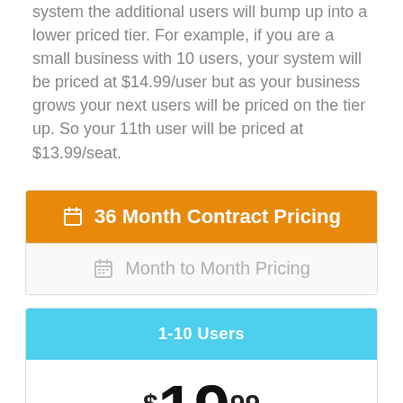system the additional users will bump up into a lower priced tier. For example, if you are a small business with 10 users, your system will be priced at $14.99/user but as your business grows your next users will be priced on the tier up. So your 11th user will be priced at $13.99/seat.
36 Month Contract Pricing
Month to Month Pricing
1-10 Users
$19.99